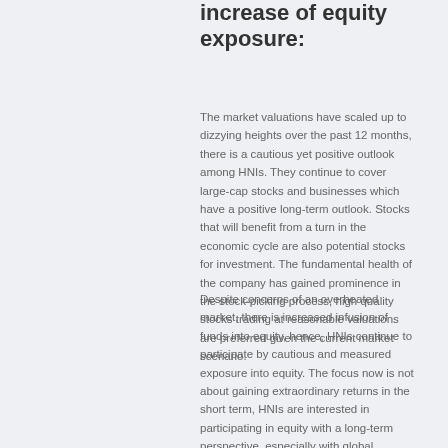increase of equity exposure:
The market valuations have scaled up to dizzying heights over the past 12 months, there is a cautious yet positive outlook among HNIs. They continue to cover large-cap stocks and businesses which have a positive long-term outlook. Stocks that will benefit from a turn in the economic cycle are also potential stocks for investment. The fundamental health of the company has gained prominence in the stock-picking process, high quality stocks trading at reasonable valuations are preferred given the current market scenario.
Despite concerns of an overheated market, there is increased infusion of funds into equity, hence, HNIs continue to participate by cautious and measured exposure into equity. The focus now is not about gaining extraordinary returns in the short term, HNIs are interested in participating in equity with a long-term perspective, especially with global interests being abysmally low.